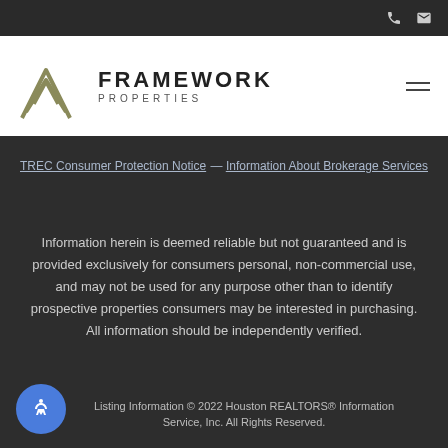Framework Properties — navigation bar with phone and email icons
[Figure (logo): Framework Properties logo: chevron/arrow icon in gold/olive color beside bold text FRAMEWORK PROPERTIES]
TREC Consumer Protection Notice — Information About Brokerage Services
Information herein is deemed reliable but not guaranteed and is provided exclusively for consumers personal, non-commercial use, and may not be used for any purpose other than to identify prospective properties consumers may be interested in purchasing. All information should be independently verified.
Listing Information © 2022 Houston REALTORS® Information Service, Inc. All Rights Reserved.